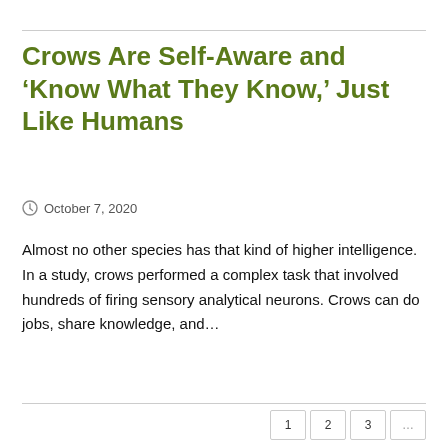Crows Are Self-Aware and ‘Know What They Know,’ Just Like Humans
October 7, 2020
Almost no other species has that kind of higher intelligence. In a study, crows performed a complex task that involved hundreds of firing sensory analytical neurons. Crows can do jobs, share knowledge, and…